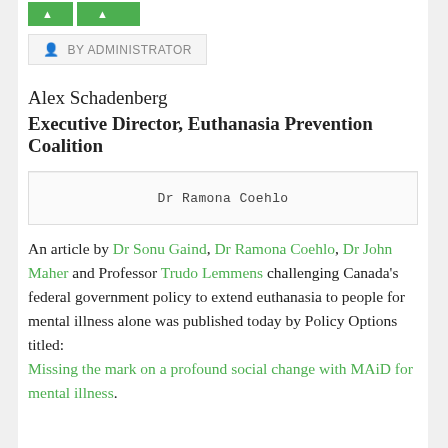[navigation buttons]
BY ADMINISTRATOR
Alex Schadenberg
Executive Director, Euthanasia Prevention Coalition
[Figure (photo): Dr Ramona Coehlo caption box]
An article by Dr Sonu Gaind, Dr Ramona Coehlo, Dr John Maher and Professor Trudo Lemmens challenging Canada’s federal government policy to extend euthanasia to people for mental illness alone was published today by Policy Options titled: Missing the mark on a profound social change with MAiD for mental illness.